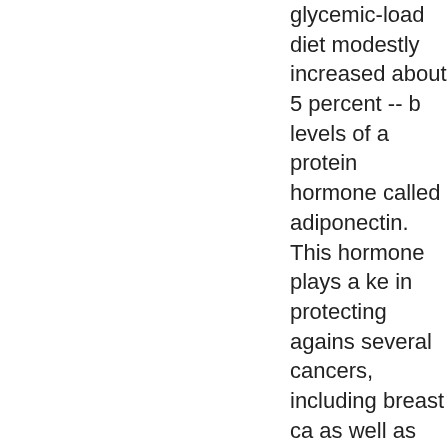glycemic-load diet modestly increased about 5 percent -- b levels of a protein hormone called adiponectin. This hormone plays a ke in protecting agains several cancers, including breast ca as well as metaboli disorders such as ty diabetes, nonalcoho fatty liver disease a hardening of the arteries"
Breakfast fail! Wors supermarket cereals revealed - MSNBC, 1/11/12 - "Eating breakfast pays off-- numerous studies indicate that eating A.M. is key in losin and maintaining we